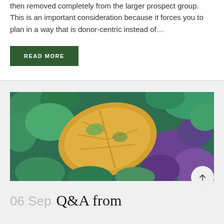then removed completely from the larger prospect group. This is an important consideration because it forces you to plan in a way that is donor-centric instead of...
READ MORE
[Figure (photo): Autumn leaf (yellow, green, orange tones) lying among colorful green and purple foliage plants]
06 Sep Q&A from